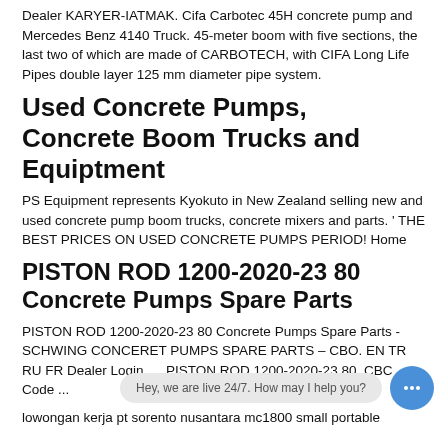Dealer KARYER-IATMAK. Cifa Carbotec 45H concrete pump and Mercedes Benz 4140 Truck. 45-meter boom with five sections, the last two of which are made of CARBOTECH, with CIFA Long Life Pipes double layer 125 mm diameter pipe system.
Used Concrete Pumps, Concrete Boom Trucks and Equiptment
PS Equipment represents Kyokuto in New Zealand selling new and used concrete pump boom trucks, concrete mixers and parts. ' THE BEST PRICES ON USED CONCRETE PUMPS PERIOD! Home
PISTON ROD 1200-2020-23 80 Concrete Pumps Spare Parts
PISTON ROD 1200-2020-23 80 Concrete Pumps Spare Parts - SCHWING CONCERET PUMPS SPARE PARTS – CBO. EN TR RU FR Dealer Login. ... PISTON ROD 1200-2020-23 80. CBC Code ...
lowongan kerja pt sorento nusantara mc1800 small portable